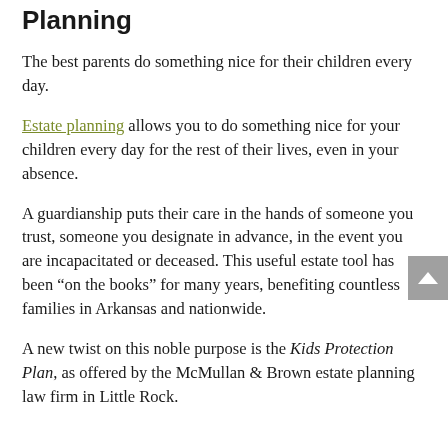Planning
The best parents do something nice for their children every day.
Estate planning allows you to do something nice for your children every day for the rest of their lives, even in your absence.
A guardianship puts their care in the hands of someone you trust, someone you designate in advance, in the event you are incapacitated or deceased. This useful estate tool has been “on the books” for many years, benefiting countless families in Arkansas and nationwide.
A new twist on this noble purpose is the Kids Protection Plan, as offered by the McMullan & Brown estate planning law firm in Little Rock.